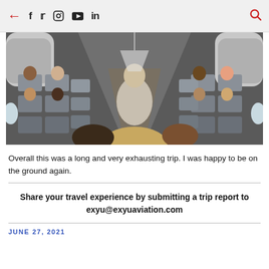← f Twitter Instagram YouTube in 🔍
[Figure (photo): Interior of an airplane cabin viewed from the back, showing passengers seated in rows with a central aisle, overhead storage bins visible, and a man standing in the aisle.]
Overall this was a long and very exhausting trip. I was happy to be on the ground again.
Share your travel experience by submitting a trip report to exyu@exyuaviation.com
JUNE 27, 2021